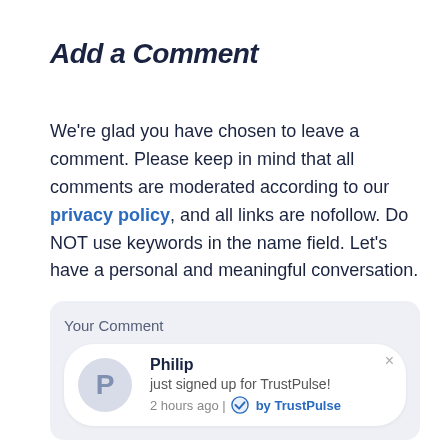Add a Comment
We're glad you have chosen to leave a comment. Please keep in mind that all comments are moderated according to our privacy policy, and all links are nofollow. Do NOT use keywords in the name field. Let's have a personal and meaningful conversation.
[Figure (screenshot): Notification widget showing 'Your Comment' label above a white card with a circular avatar letter P, the name Philip, text 'just signed up for TrustPulse!', and '2 hours ago | by TrustPulse' with a blue checkmark logo. An X close button is in the top right of the card.]